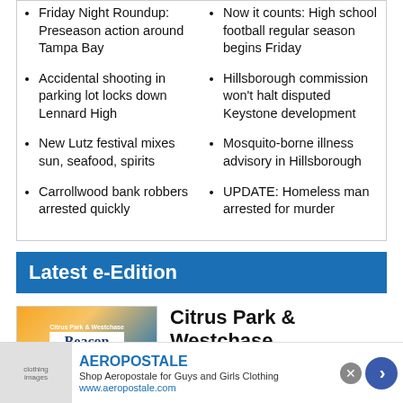Friday Night Roundup: Preseason action around Tampa Bay
Accidental shooting in parking lot locks down Lennard High
New Lutz festival mixes sun, seafood, spirits
Carrollwood bank robbers arrested quickly
Now it counts: High school football regular season begins Friday
Hillsborough commission won't halt disputed Keystone development
Mosquito-borne illness advisory in Hillsborough
UPDATE: Homeless man arrested for murder
Latest e-Edition
[Figure (screenshot): Citrus Park & Westchase Beacon newspaper thumbnail]
Citrus Park & Westchase Beacon
[Figure (infographic): Aeropostale advertisement banner with clothing images, brand name, tagline 'Shop Aeropostale for Guys and Girls Clothing', and URL www.aeropostale.com]